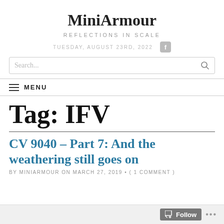MiniArmour
REFLECTIONS IN SCALE
TUESDAY, AUGUST 23RD, 2022
Search...
MENU
Tag: IFV
CV 9040 – Part 7: And the weathering still goes on
BY MINIARMOUR ON MARCH 27, 2019 • ( 1 COMMENT )
Follow